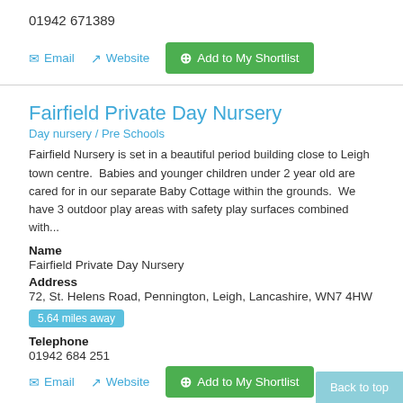01942 671389
Email  Website  Add to My Shortlist
Fairfield Private Day Nursery
Day nursery / Pre Schools
Fairfield Nursery is set in a beautiful period building close to Leigh town centre.  Babies and younger children under 2 year old are cared for in our separate Baby Cottage within the grounds.  We have 3 outdoor play areas with safety play surfaces combined with...
Name
Fairfield Private Day Nursery
Address
72, St. Helens Road, Pennington, Leigh, Lancashire, WN7 4HW
5.64 miles away
Telephone
01942 684 251
01942 675 424
Email  Website  Add to My Shortlist  Back to top